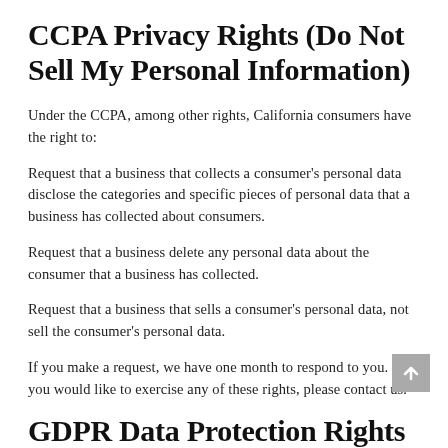CCPA Privacy Rights (Do Not Sell My Personal Information)
Under the CCPA, among other rights, California consumers have the right to:
Request that a business that collects a consumer's personal data disclose the categories and specific pieces of personal data that a business has collected about consumers.
Request that a business delete any personal data about the consumer that a business has collected.
Request that a business that sells a consumer's personal data, not sell the consumer's personal data.
If you make a request, we have one month to respond to you. If you would like to exercise any of these rights, please contact us.
GDPR Data Protection Rights